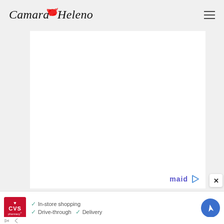[Figure (logo): Camara Heleno website logo with red ink splat between words, italic serif font]
[Figure (screenshot): White content area / main card placeholder on gray background]
[Figure (logo): maid logo with play button arrow in blue/purple at bottom right of content card]
[Figure (screenshot): CVS Pharmacy advertisement banner with checkmarks for In-store shopping, Drive-through, and Delivery services, with blue map navigation arrow icon on right]
In-store shopping
Drive-through
Delivery